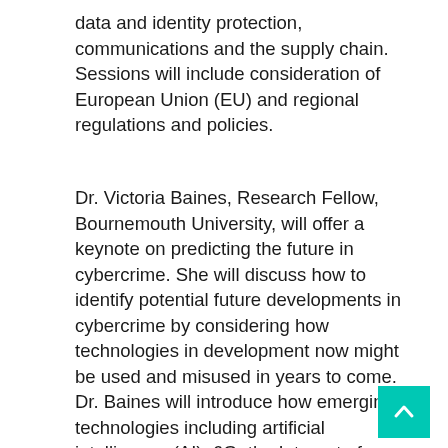data and identity protection, communications and the supply chain. Sessions will include consideration of European Union (EU) and regional regulations and policies.
Dr. Victoria Baines, Research Fellow, Bournemouth University, will offer a keynote on predicting the future in cybercrime. She will discuss how to identify potential future developments in cybercrime by considering how technologies in development now might be used and misused in years to come. Dr. Baines will introduce how emerging technologies including artificial intelligence (AI), 6G, the Internet of Things, augmented reality, 4D printing and others might converge, along with their vulnerabilities and opportunities for misuse.